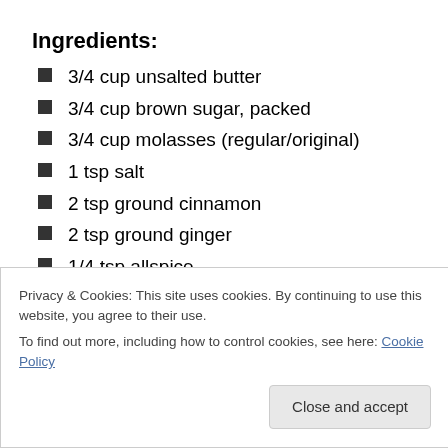Ingredients:
3/4 cup unsalted butter
3/4 cup brown sugar, packed
3/4 cup molasses (regular/original)
1 tsp salt
2 tsp ground cinnamon
2 tsp ground ginger
1/4 tsp allspice
1 large egg
Privacy & Cookies: This site uses cookies. By continuing to use this website, you agree to their use.
To find out more, including how to control cookies, see here: Cookie Policy
Close and accept